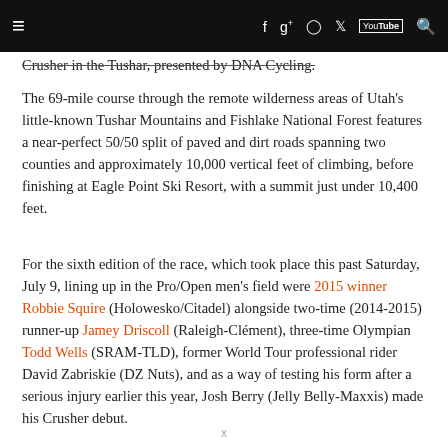≡  f  g+  [camera]  [twitter]  [youtube]  [search]
Crusher in the Tushar, presented by DNA Cycling.
The 69-mile course through the remote wilderness areas of Utah's little-known Tushar Mountains and Fishlake National Forest features a near-perfect 50/50 split of paved and dirt roads spanning two counties and approximately 10,000 vertical feet of climbing, before finishing at Eagle Point Ski Resort, with a summit just under 10,400 feet.
For the sixth edition of the race, which took place this past Saturday, July 9, lining up in the Pro/Open men's field were 2015 winner Robbie Squire (Holowesko/Citadel) alongside two-time (2014-2015) runner-up Jamey Driscoll (Raleigh-Clément), three-time Olympian Todd Wells (SRAM-TLD), former World Tour professional rider David Zabriskie (DZ Nuts), and as a way of testing his form after a serious injury earlier this year, Josh Berry (Jelly Belly-Maxxis) made his Crusher debut.
x